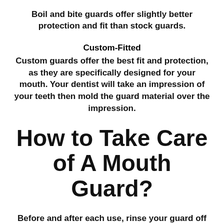Boil and bite guards offer slightly better protection and fit than stock guards.
Custom-Fitted
Custom guards offer the best fit and protection, as they are specifically designed for your mouth. Your dentist will take an impression of your teeth then mold the guard material over the impression.
How to Take Care of A Mouth Guard?
Before and after each use, rinse your guard off in cool water or mouth rinse, or clean it with mild soap and a toothbrush. Store it in a firm container with